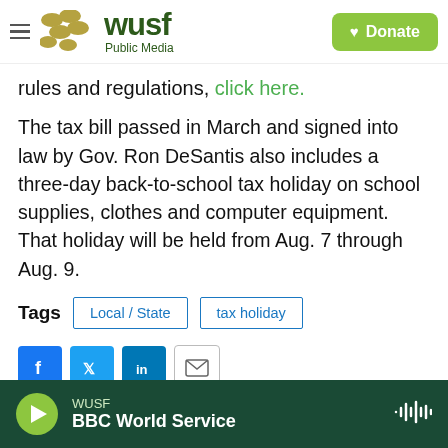[Figure (logo): WUSF Public Media logo with olive/gold dots and hamburger menu, plus green Donate button]
rules and regulations, click here.
The tax bill passed in March and signed into law by Gov. Ron DeSantis also includes a three-day back-to-school tax holiday on school supplies, clothes and computer equipment. That holiday will be held from Aug. 7 through Aug. 9.
Tags  Local / State  tax holiday
[Figure (other): Social share buttons: Facebook, Twitter, LinkedIn, Email]
WUSF  BBC World Service